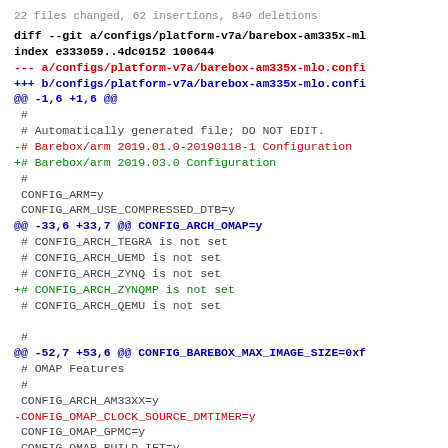22 files changed, 62 insertions, 840 deletions
diff --git a/configs/platform-v7a/barebox-am335x-ml
index e333059..4dc0152 100644
--- a/configs/platform-v7a/barebox-am335x-mlo.confi
+++ b/configs/platform-v7a/barebox-am335x-mlo.confi
@@ -1,6 +1,6 @@
 #
 # Automatically generated file; DO NOT EDIT.
 -# Barebox/arm 2019.01.0-20190118-1 Configuration
 +# Barebox/arm 2019.03.0 Configuration
 #
 CONFIG_ARM=y
 CONFIG_ARM_USE_COMPRESSED_DTB=y
@@ -33,6 +33,7 @@ CONFIG_ARCH_OMAP=y
 # CONFIG_ARCH_TEGRA is not set
 # CONFIG_ARCH_UEMD is not set
 # CONFIG_ARCH_ZYNQ is not set
 +# CONFIG_ARCH_ZYNQMP is not set
 # CONFIG_ARCH_QEMU is not set
 
 #
@@ -52,7 +53,6 @@ CONFIG_BAREBOX_MAX_IMAGE_SIZE=0xf
 # OMAP Features
 #
 CONFIG_ARCH_AM33XX=y
 -CONFIG_OMAP_CLOCK_SOURCE_DMTIMER=y
 CONFIG_OMAP_GPMC=y
 CONFIG_OMAP_BUILD_IFT=y
 # CONFIG_OMAP_BUILD_SPI is not set